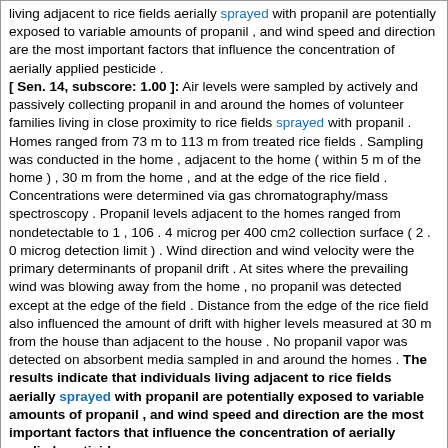living adjacent to rice fields aerially sprayed with propanil are potentially exposed to variable amounts of propanil , and wind speed and direction are the most important factors that influence the concentration of aerially applied pesticide . [ Sen. 14, subscore: 1.00 ]: Air levels were sampled by actively and passively collecting propanil in and around the homes of volunteer families living in close proximity to rice fields sprayed with propanil . Homes ranged from 73 m to 113 m from treated rice fields . Sampling was conducted in the home , adjacent to the home ( within 5 m of the home ) , 30 m from the home , and at the edge of the rice field . Concentrations were determined via gas chromatography/mass spectroscopy . Propanil levels adjacent to the homes ranged from nondetectable to 1 , 106 . 4 microg per 400 cm2 collection surface ( 2 . 0 microg detection limit ) . Wind direction and wind velocity were the primary determinants of propanil drift . At sites where the prevailing wind was blowing away from the home , no propanil was detected except at the edge of the field . Distance from the edge of the rice field also influenced the amount of drift with higher levels measured at 30 m from the house than adjacent to the house . No propanil vapor was detected on absorbent media sampled in and around the homes . The results indicate that individuals living adjacent to rice fields aerially sprayed with propanil are potentially exposed to variable amounts of propanil , and wind speed and direction are the most important factors that influence the concentration of aerially applied pesticide .
Score: 3.00
Journal: J Am . Mosq . Control Assoc . Citation: V : 19 ( 4 ) P : 430-2 Year: 2003 Type: ARTICLE